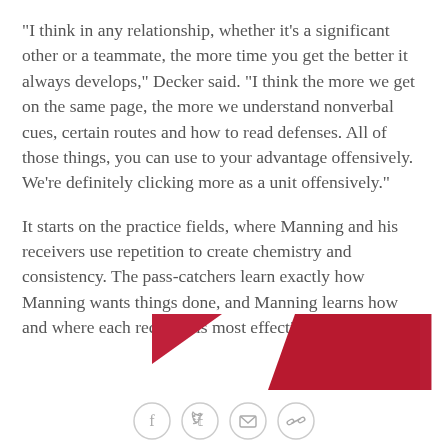"I think in any relationship, whether it's a significant other or a teammate, the more time you get the better it always develops," Decker said. "I think the more we get on the same page, the more we understand nonverbal cues, certain routes and how to read defenses. All of those things, you can use to your advantage offensively. We're definitely clicking more as a unit offensively."
It starts on the practice fields, where Manning and his receivers use repetition to create chemistry and consistency. The pass-catchers learn exactly how Manning wants things done, and Manning learns how and where each receiver is most effective.
[Figure (illustration): Decorative graphic with two red/dark-red triangular/rectangular shapes on a white background — a small triangle on the left and a larger rectangle with diagonal cut on the right.]
[Figure (illustration): Social sharing icons row: Facebook, Twitter, Email/envelope, and link/chain icon — all in light gray circle outlines.]